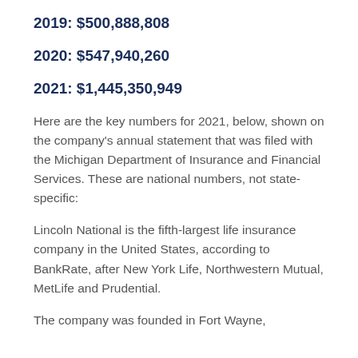2019: $500,888,808
2020: $547,940,260
2021: $1,445,350,949
Here are the key numbers for 2021, below, shown on the company's annual statement that was filed with the Michigan Department of Insurance and Financial Services. These are national numbers, not state-specific:
Lincoln National is the fifth-largest life insurance company in the United States, according to BankRate, after New York Life, Northwestern Mutual, MetLife and Prudential.
The company was founded in Fort Wayne,